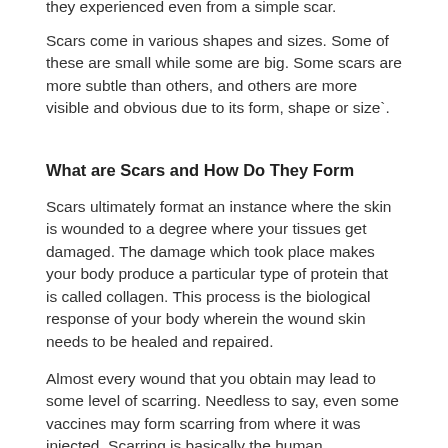they experienced even from a simple scar.
Scars come in various shapes and sizes. Some of these are small while some are big. Some scars are more subtle than others, and others are more visible and obvious due to its form, shape or size`.
What are Scars and How Do They Form
Scars ultimately format an instance where the skin is wounded to a degree where your tissues get damaged. The damage which took place makes your body produce a particular type of protein that is called collagen. This process is the biological response of your body wherein the wound skin needs to be healed and repaired.
Almost every wound that you obtain may lead to some level of scarring. Needless to say, even some vaccines may form scarring from where it was injected. Scarring is basically the human